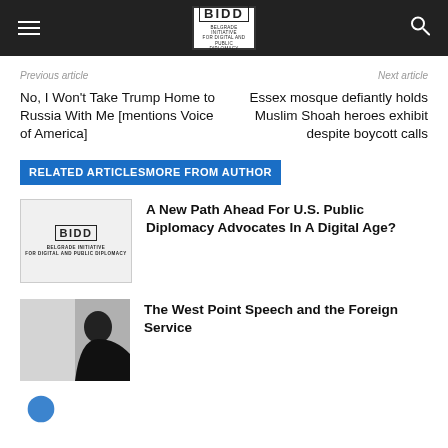BIDD — Belgrade Initiative for Digital and Public Diplomacy
Previous article
Next article
No, I Won't Take Trump Home to Russia With Me [mentions Voice of America]
Essex mosque defiantly holds Muslim Shoah heroes exhibit despite boycott calls
RELATED ARTICLESMORE FROM AUTHOR
A New Path Ahead For U.S. Public Diplomacy Advocates In A Digital Age?
The West Point Speech and the Foreign Service